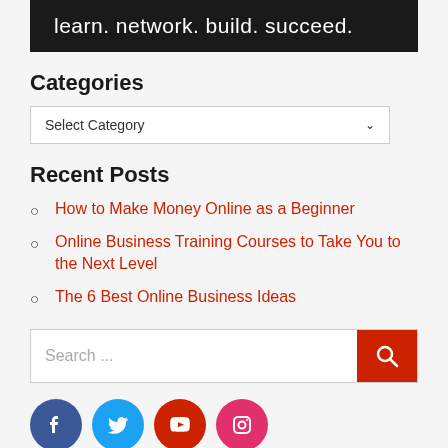[Figure (illustration): Black banner with white text reading 'learn. network. build. succeed.']
Categories
Select Category (dropdown)
Recent Posts
How to Make Money Online as a Beginner
Online Business Training Courses to Take You to the Next Level
The 6 Best Online Business Ideas
Search ...
[Figure (illustration): Social media icons: Facebook, Twitter, YouTube, Instagram]